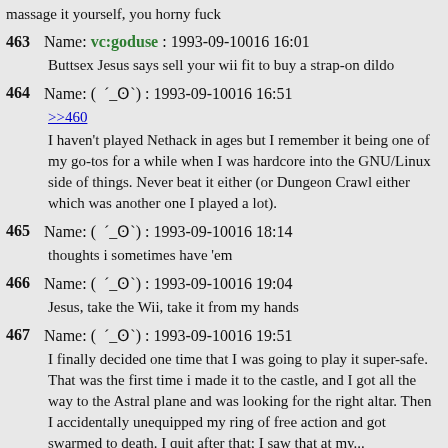massage it yourself, you horny fuck
463 Name: vc:goduse : 1993-09-10016 16:01
Buttsex Jesus says sell your wii fit to buy a strap-on dildo
464 Name: ( ´_ʘ`) : 1993-09-10016 16:51
>>460
I haven't played Nethack in ages but I remember it being one of my go-tos for a while when I was hardcore into the GNU/Linux side of things. Never beat it either (or Dungeon Crawl either which was another one I played a lot).
465 Name: ( ´_ʘ`) : 1993-09-10016 18:14
thoughts i sometimes have 'em
466 Name: ( ´_ʘ`) : 1993-09-10016 19:04
Jesus, take the Wii, take it from my hands
467 Name: ( ´_ʘ`) : 1993-09-10016 19:51
I finally decided one time that I was going to play it super-safe. That was the first time i made it to the castle, and I got all the way to the Astral plane and was looking for the right altar. Then I accidentally unequipped my ring of free action and got swarmed to death. I quit after that; I saw that at my...